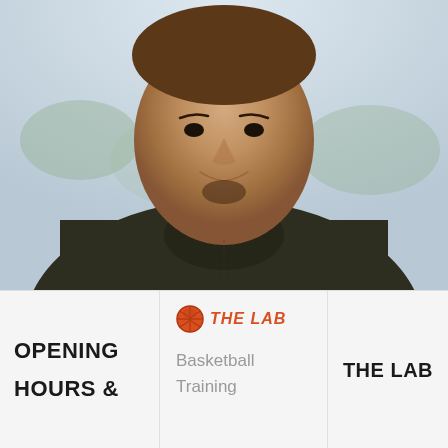[Figure (photo): Portrait photo of a young man with short hair and a goatee, wearing a dark olive/charcoal hoodie, looking at the camera with a slight smile. The background shows a blurred outdoor scene with trees and sky.]
OPENING HOURS &
[Figure (logo): The Lab logo: orange basketball icon followed by 'THE LAB' in orange bold italic text]
Basketball Training
THE LAB